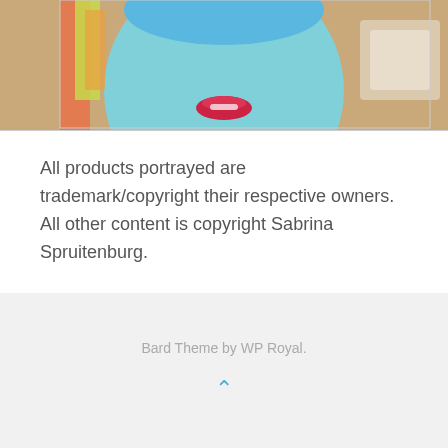[Figure (photo): Close-up photo of a colorful doll face with light blue skin, red lips, and rainbow-colored accessories/hair. Partial view showing the top portion of the face.]
All products portrayed are trademark/copyright their respective owners. All other content is copyright Sabrina Spruitenburg.
Bard Theme by WP Royal.